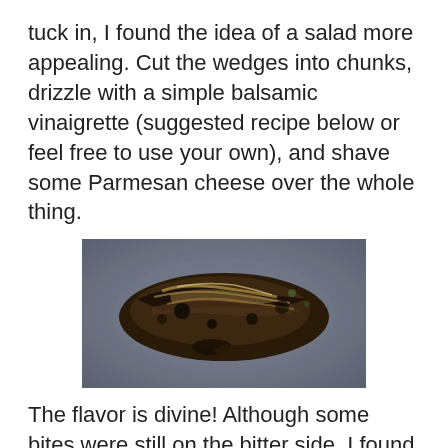tuck in, I found the idea of a salad more appealing. Cut the wedges into chunks, drizzle with a simple balsamic vinaigrette (suggested recipe below or feel free to use your own), and shave some Parmesan cheese over the whole thing.
[Figure (photo): Photo of grilled or roasted vegetable wedges (appears to be radicchio or cabbage) charred and caramelized, served in a metal bowl]
The flavor is divine! Although some bites were still on the bitter side, I found it surprisingly addictive (sort of similar to the way I feel about this divine salad of shaved brussels sprouts, raw kale, toasted